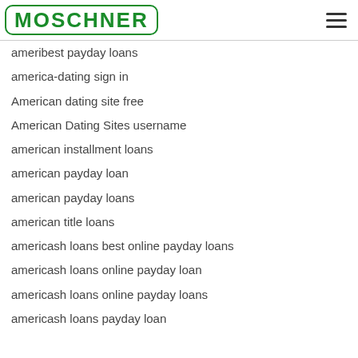MOSCHNER
ameribest payday loans
america-dating sign in
American dating site free
American Dating Sites username
american installment loans
american payday loan
american payday loans
american title loans
americash loans best online payday loans
americash loans online payday loan
americash loans online payday loans
americash loans payday loan